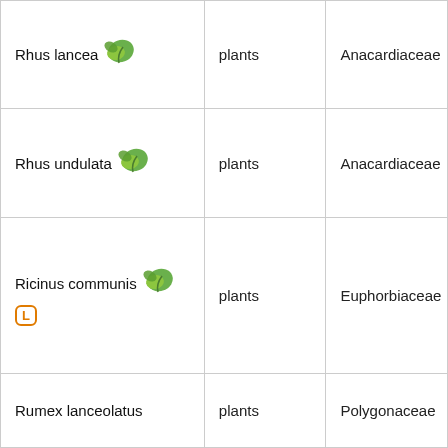| Rhus lancea [leaf icon] | plants | Anacardiaceae |
| Rhus undulata [leaf icon] | plants | Anacardiaceae |
| Ricinus communis [leaf icon] L | plants | Euphorbiaceae |
| Rumex lanceolatus | plants | Polygonaceae |